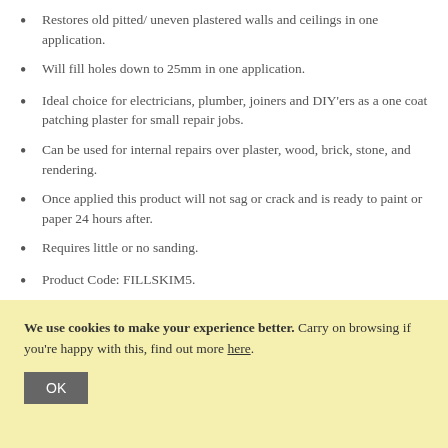Restores old pitted/ uneven plastered walls and ceilings in one application.
Will fill holes down to 25mm in one application.
Ideal choice for electricians, plumber, joiners and DIY'ers as a one coat patching plaster for small repair jobs.
Can be used for internal repairs over plaster, wood, brick, stone, and rendering.
Once applied this product will not sag or crack and is ready to paint or paper 24 hours after.
Requires little or no sanding.
Product Code: FILLSKIM5.
We use cookies to make your experience better. Carry on browsing if you're happy with this, find out more here.